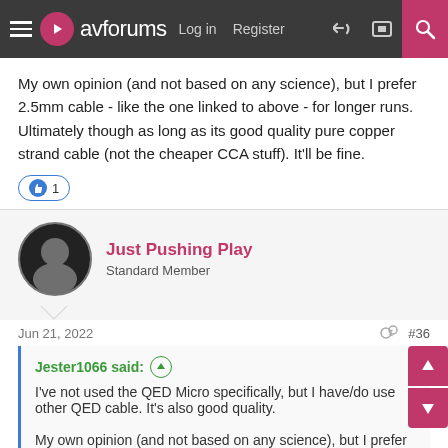avforums | Log in | Register
My own opinion (and not based on any science), but I prefer 2.5mm cable - like the one linked to above - for longer runs. Ultimately though as long as its good quality pure copper strand cable (not the cheaper CCA stuff). It'll be fine.
👍 1
Just Pushing Play
Standard Member
Jun 21, 2022  #36
Jester1066 said:
I've not used the QED Micro specifically, but I have/do use other QED cable. It's also good quality.
My own opinion (and not based on any science), but I prefer 2.5mm cable - like the one linked to above - for longer runs.